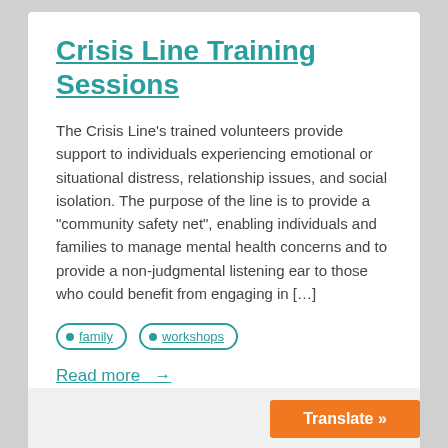Crisis Line Training Sessions
The Crisis Line's trained volunteers provide support to individuals experiencing emotional or situational distress, relationship issues, and social isolation. The purpose of the line is to provide a “community safety net”, enabling individuals and families to manage mental health concerns and to provide a non-judgmental listening ear to those who could benefit from engaging in […]
family
workshops
Read more →